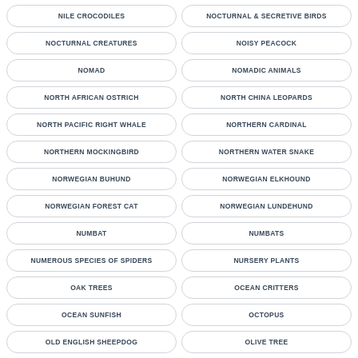NILE CROCODILES
NOCTURNAL & SECRETIVE BIRDS
NOCTURNAL CREATURES
NOISY PEACOCK
NOMAD
NOMADIC ANIMALS
NORTH AFRICAN OSTRICH
NORTH CHINA LEOPARDS
NORTH PACIFIC RIGHT WHALE
NORTHERN CARDINAL
NORTHERN MOCKINGBIRD
NORTHERN WATER SNAKE
NORWEGIAN BUHUND
NORWEGIAN ELKHOUND
NORWEGIAN FOREST CAT
NORWEGIAN LUNDEHUND
NUMBAT
NUMBATS
NUMEROUS SPECIES OF SPIDERS
NURSERY PLANTS
OAK TREES
OCEAN CRITTERS
OCEAN SUNFISH
OCTOPUS
OLD ENGLISH SHEEPDOG
OLIVE TREE